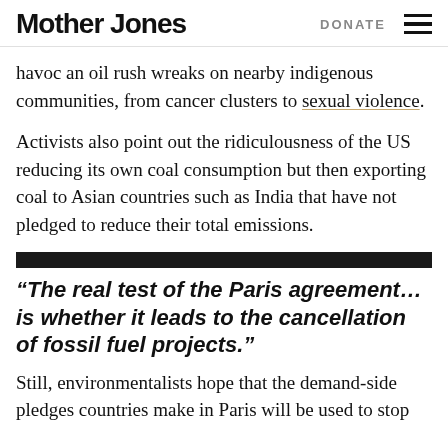Mother Jones | DONATE
havoc an oil rush wreaks on nearby indigenous communities, from cancer clusters to sexual violence.
Activists also point out the ridiculousness of the US reducing its own coal consumption but then exporting coal to Asian countries such as India that have not pledged to reduce their total emissions.
“The real test of the Paris agreement…is whether it leads to the cancellation of fossil fuel projects.”
Still, environmentalists hope that the demand-side pledges countries make in Paris will be used to stop